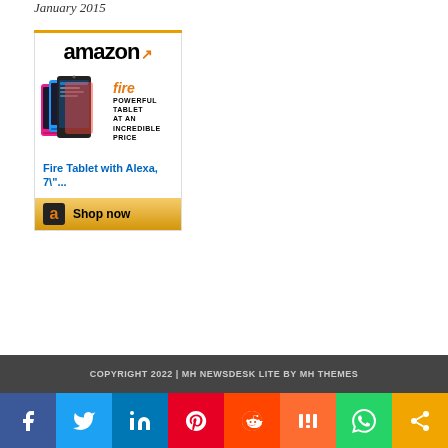January 2015
[Figure (advertisement): Amazon Fire Tablet advertisement with amazon logo, product image of colorful tablets, fire branding, and Shop now button with gold bar]
COPYRIGHT 2022 | MH NEWSDESK LITE BY MH THEMES
[Figure (infographic): Social media sharing bar with Facebook, Twitter, LinkedIn, Pinterest, Reddit, Mix, WhatsApp, and More share buttons]